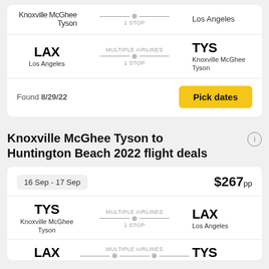LAX Los Angeles → TYS Knoxville McGhee Tyson, MULTIPLE AIRLINES, 1 STOP
Found 8/29/22
Pick dates
Knoxville McGhee Tyson to Huntington Beach 2022 flight deals
16 Sep - 17 Sep  $267pp
TYS Knoxville McGhee Tyson → LAX Los Angeles, MULTIPLE AIRLINES, 1 STOP
LAX → TYS, MULTIPLE AIRLINES